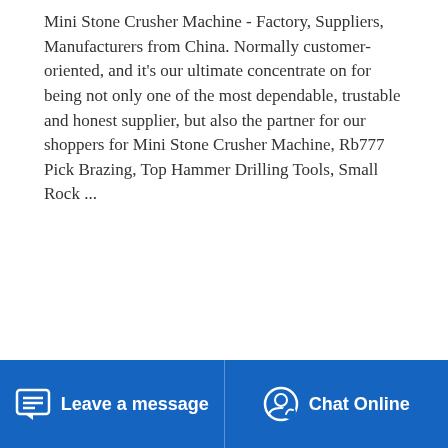Mini Stone Crusher Machine - Factory, Suppliers, Manufacturers from China. Normally customer-oriented, and it's our ultimate concentrate on for being not only one of the most dependable, trustable and honest supplier, but also the partner for our shoppers for Mini Stone Crusher Machine, Rb777 Pick Brazing, Top Hammer Drilling Tools, Small Rock ...
[Figure (other): Yellow 'Read More' button on the left and a rocket icon button on the right]
[Figure (photo): Photo of industrial stone crusher machine with rusty metal parts and machinery in a yard setting]
Leave a message   Chat Online